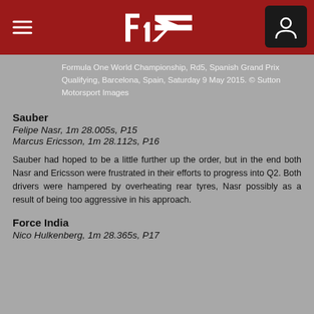F1 header navigation bar
Formula One World Championship, Rd5, Spanish Grand Prix Qualifying, Barcelona, Spain, Saturday 9 May 2015. © Sutton Motorsport Images
Sauber
Felipe Nasr, 1m 28.005s, P15
Marcus Ericsson, 1m 28.112s, P16
Sauber had hoped to be a little further up the order, but in the end both Nasr and Ericsson were frustrated in their efforts to progress into Q2. Both drivers were hampered by overheating rear tyres, Nasr possibly as a result of being too aggressive in his approach.
Force India
Nico Hulkenberg, 1m 28.365s, P17